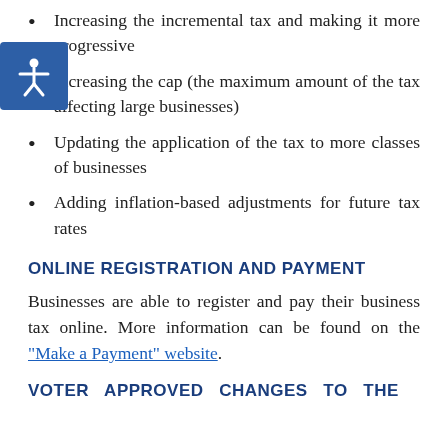Increasing the incremental tax and making it more progressive
Increasing the cap (the maximum amount of the tax affecting large businesses)
Updating the application of the tax to more classes of businesses
Adding inflation-based adjustments for future tax rates
ONLINE REGISTRATION AND PAYMENT
Businesses are able to register and pay their business tax online. More information can be found on the “Make a Payment” website.
VOTER APPROVED CHANGES TO THE